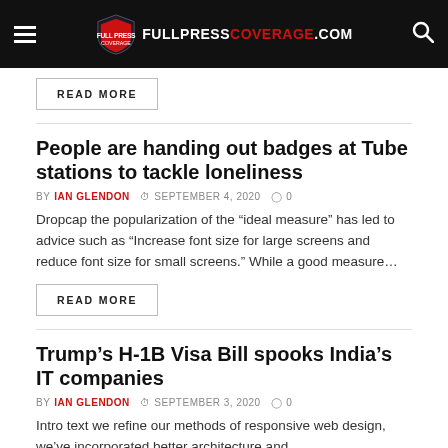FULLPRESSCOVERAGE.COM
People are handing out badges at Tube stations to tackle loneliness
BY IAN GLENDON  SEPTEMBER 4, 2020  0
Dropcap the popularization of the “ideal measure” has led to advice such as “Increase font size for large screens and reduce font size for small screens.” While a good measure...
READ MORE
Trump’s H-1B Visa Bill spooks India’s IT companies
BY IAN GLENDON  SEPTEMBER 3, 2020  0
Intro text we refine our methods of responsive web design, we’ve incorporated better architecture and...